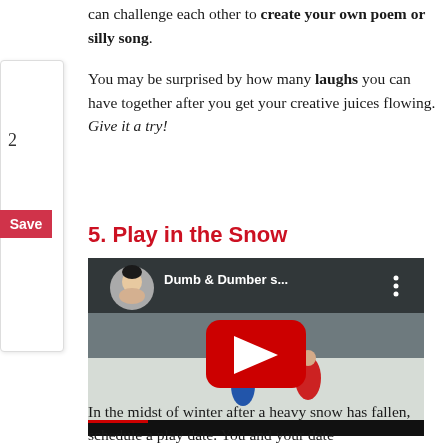can challenge each other to create your own poem or silly song.
You may be surprised by how many laughs you can have together after you get your creative juices flowing. Give it a try!
5. Play in the Snow
[Figure (screenshot): YouTube video thumbnail showing two people in snow gear on a snowy slope, with the title 'Dumb & Dumber s...' and a red YouTube play button overlay. A circular avatar of a person in the top-left corner.]
In the midst of winter after a heavy snow has fallen, schedule a play date. You and your date